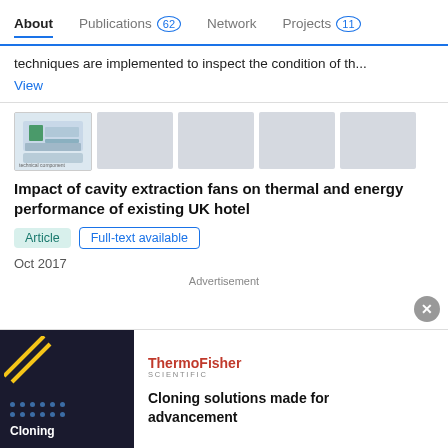About   Publications 62   Network   Projects 11
techniques are implemented to inspect the condition of th...
View
[Figure (photo): Thumbnail images of a hardware/electronic rack component, followed by four grey placeholder thumbnails]
Impact of cavity extraction fans on thermal and energy performance of existing UK hotel
Article   Full-text available
Oct 2017
Advertisement
[Figure (photo): ThermoFisher Scientific advertisement showing a dark blue image with dots and diagonal lines, a Cloning label, ThermoFisher Scientific logo, and text: Cloning solutions made for advancement]